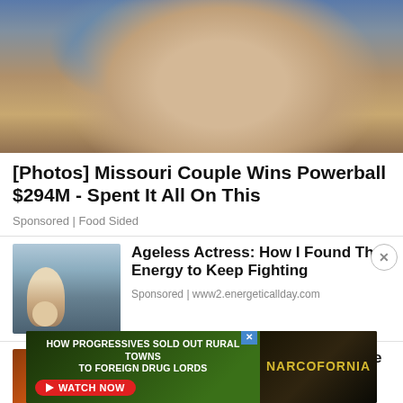[Figure (photo): Cropped photo of a blonde woman's face/neck with a fur coat, with a blue background visible]
[Photos] Missouri Couple Wins Powerball $294M - Spent It All On This
Sponsored | Food Sided
[Figure (photo): Woman in boxing gym with pink boxing gloves, punching bag in background]
Ageless Actress: How I Found The Energy to Keep Fighting
Sponsored | www2.energeticallday.com
[Figure (photo): Grilled/barbecued meat with fire/flames in background]
[Photos] If You Have Any Of These 29 Toys, You're Rich
[Figure (screenshot): Advertisement banner: HOW PROGRESSIVES SOLD OUT RURAL TOWNS TO FOREIGN DRUG LORDS - NARCOFORNIA - WATCH NOW button]